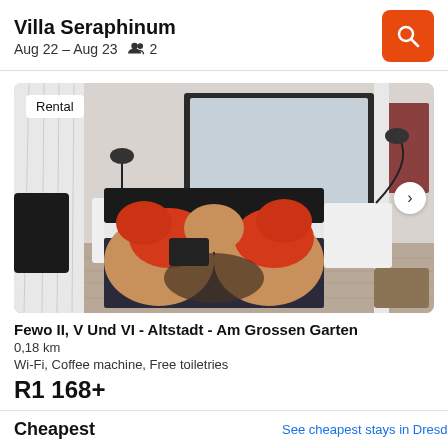Villa Seraphinum
Aug 22 – Aug 23   2
[Figure (photo): Hotel room with double bed, colorful red and tan bedding, white walls, mirror, bedside tables with lamps. Label overlay: Rental]
Fewo II, V Und VI - Altstadt - Am Grossen Garten
0,18 km
Wi-Fi, Coffee machine, Free toiletries
R1 168+
Cheapest
See cheapest stays in Dresden